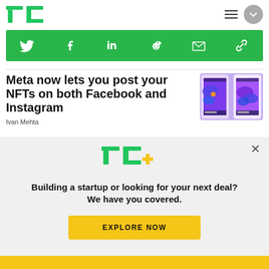TechCrunch
[Figure (infographic): Social media share buttons bar with icons for Twitter, Facebook, LinkedIn, Reddit, Email, and Link on a green background]
Meta now lets you post your NFTs on both Facebook and Instagram
[Figure (screenshot): Thumbnail showing Meta NFT feature on Facebook and Instagram mobile interfaces with colorful NFT artwork]
Ivan Mehta
[Figure (logo): TC+ logo in green and yellow]
Building a startup or looking for your next deal? We have you covered.
EXPLORE NOW